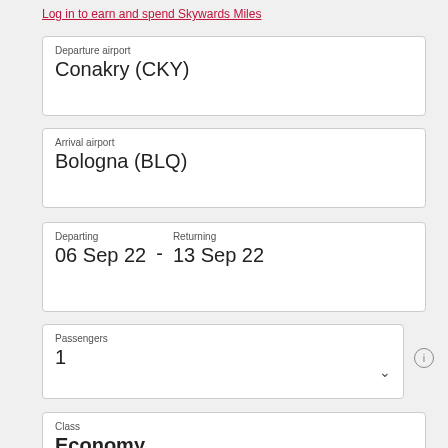Log in to earn and spend Skywards Miles
Departure airport
Conakry (CKY)
Arrival airport
Bologna (BLQ)
Departing: 06 Sep 22 - Returning: 13 Sep 22
Passengers
1
Class
Economy